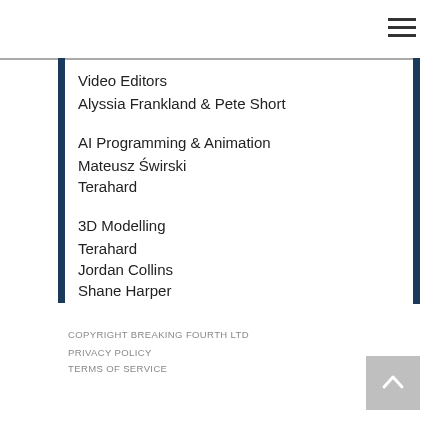[Figure (other): Hamburger menu icon (three horizontal lines)]
Video Editors
Alyssia Frankland & Pete Short
AI Programming & Animation
Mateusz Świrski
Terahard
3D Modelling
Terahard
Jordan Collins
Shane Harper
Elliott Kozlik
COPYRIGHT BREAKING FOURTH LTD
PRIVACY POLICY
TERMS OF SERVICE